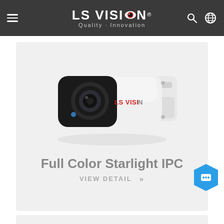LS VISION — Quality · Innovation
[Figure (photo): White LS VISION bullet security camera facing left on a light gray background]
Full Color Starlight IPC
VIEW DETAIL >>
[Figure (other): Bottom of next product card (partially visible)]